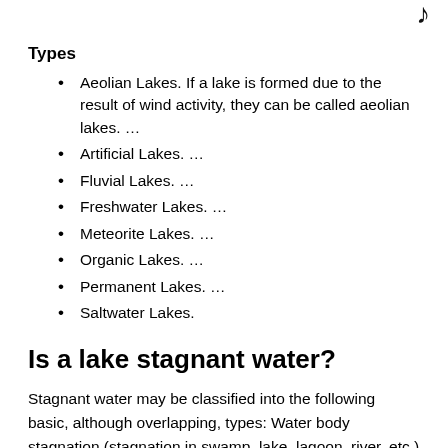Types
Aeolian Lakes. If a lake is formed due to the result of wind activity, they can be called aeolian lakes. …
Artificial Lakes. …
Fluvial Lakes. …
Freshwater Lakes. …
Meteorite Lakes. …
Organic Lakes. …
Permanent Lakes. …
Saltwater Lakes.
Is a lake stagnant water?
Stagnant water may be classified into the following basic, although overlapping, types: Water body stagnation (stagnation in swamp, lake, lagoon, river, etc.) Surface and